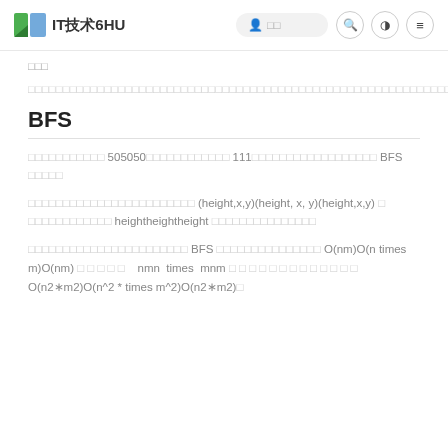IT技术6HU
□□□
□□□□□□□□□□□□□□□□□□□□□□□□□□□□□□□□□□□□□□□□□□□□□□□□□□□□
BFS
□□□□□□□□□□□ 505050□□□□□□□□□□□□ 111□□□□□□□□□□□□□□□□□□ BFS □□□□□
□□□□□□□□□□□□□□□□□□□□□□□□ (height,x,y)(height, x, y)(height,x,y) □ □□□□□□□□□□□□ heightheightheight □□□□□□□□□□□□□□□
□□□□□□□□□□□□□□□□□□□□□□□ BFS □□□□□□□□□□□□□□□ O(nm)O(n times m)O(nm) □□□□□ nmn times mnm □□□□□□□□□□□□□ O(n2∗m2)O(n^2 * times m^2)O(n2∗m2)□